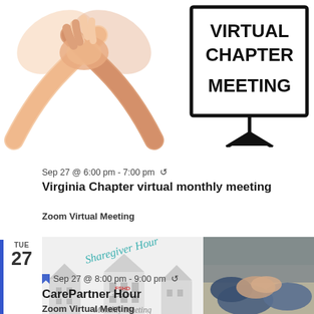[Figure (illustration): Illustration of hands shaking/joining together in a collaborative gesture, shown in warm skin tones]
[Figure (illustration): A presentation board/easel sign with text 'VIRTUAL CHAPTER MEETING' in bold black letters]
Sep 27 @ 6:00 pm - 7:00 pm ↺
Virginia Chapter virtual monthly meeting
Zoom Virtual Meeting
TUE
27
[Figure (illustration): Banner image combining: left side shows Sharegiver Hour logo with house illustrations and FSHD Society Monthly Meeting text in teal; right side shows photo of people's hands together on a table]
Sep 27 @ 8:00 pm - 9:00 pm ↺
CarePartner Hour
Zoom Virtual Meeting